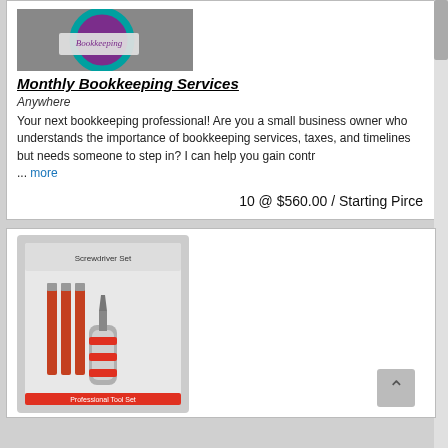[Figure (photo): Circular bookkeeping logo with purple and teal colors, bookkeeping text label]
Monthly Bookkeeping Services
Anywhere
Your next bookkeeping professional! Are you a small business owner who understands the importance of bookkeeping services, taxes, and timelines but needs someone to step in? I can help you gain contr ... more
10 @ $560.00 / Starting Pirce
[Figure (photo): Screwdriver set in retail packaging with red and silver components]